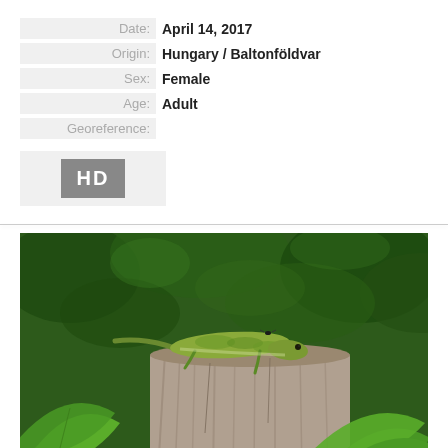| Date: | April 14, 2017 |
| Origin: | Hungary / Baltonföldvar |
| Sex: | Female |
| Age: | Adult |
| Georeference: |  |
[Figure (photo): HD badge/icon in a light gray box]
[Figure (photo): A green lizard resting on top of a weathered wooden stump, surrounded by green leaves and foliage in the background. Natural outdoor nature photography.]